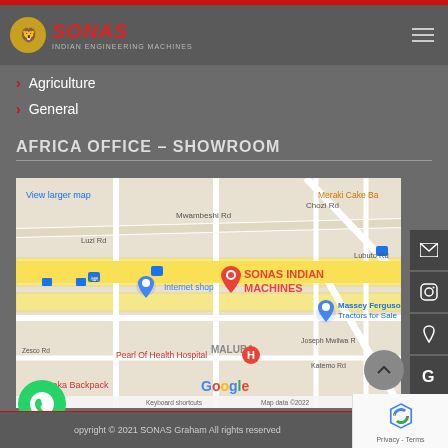SONAS Indian Engineering Machines
Agriculture
General
AFRICA OFFICE – SHOWROOM
[Figure (map): Google Maps screenshot showing location of SONAS INDIAN MACHINES in Lusaka, Zambia. Nearby landmarks include Internet shop, Pearl Of Health Hospital, Lusaka Backpack, Massey Ferguson Tractors for Sale, Meraki Cake Ba. Streets visible include Mwambeshi Rd, Chozi Rd, Luzi Rd, Lubuto Rd, Katemo Rd, Zesco Rd, Joseph Mwilwa R. Map data ©2022.]
Copyright © 2021 SONAS Graham All rights reserved